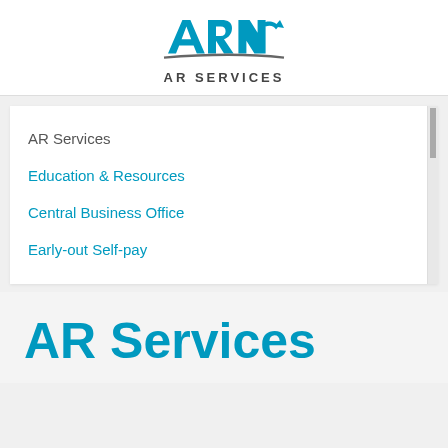[Figure (logo): ARS AR Services logo with blue stylized letters and gray swoosh underline]
AR Services
Education & Resources
Central Business Office
Early-out Self-pay
AR Services